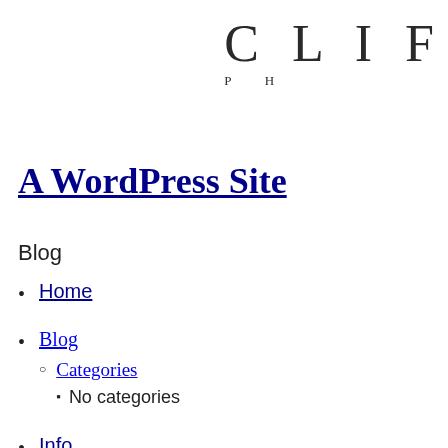[Figure (logo): Partial logo/brand text showing 'CLIF' in large serif letters and 'P H' in small spaced caps below, cropped on right edge]
A WordPress Site
Blog
Home
Blog
Categories
No categories
Info